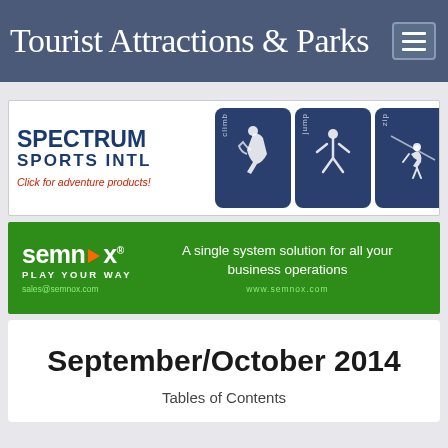Tourist Attractions & Parks
[Figure (logo): Spectrum Sports Intl advertisement banner with climb, jump, zip activity icons]
[Figure (logo): Semnox Play Your Way advertisement - A single system solution for all your business operations. sales@semnox.com www.semnox.com]
September/October 2014
Tables of Contents